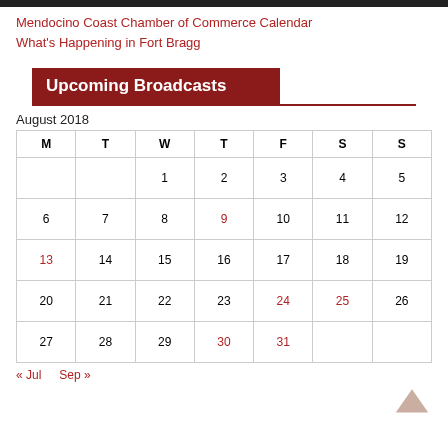Mendocino Coast Chamber of Commerce Calendar
What's Happening in Fort Bragg
Upcoming Broadcasts
August 2018
| M | T | W | T | F | S | S |
| --- | --- | --- | --- | --- | --- | --- |
|  |  | 1 | 2 | 3 | 4 | 5 |
| 6 | 7 | 8 | 9 | 10 | 11 | 12 |
| 13 | 14 | 15 | 16 | 17 | 18 | 19 |
| 20 | 21 | 22 | 23 | 24 | 25 | 26 |
| 27 | 28 | 29 | 30 | 31 |  |  |
« Jul   Sep »